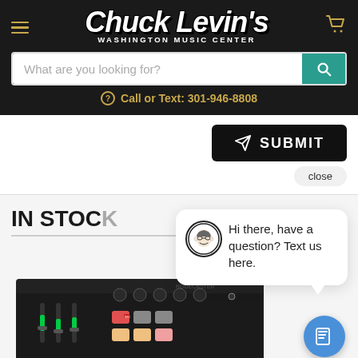[Figure (screenshot): Chuck Levin's Washington Music Center website header with logo, hamburger menu, cart icon, search bar, and phone number]
What are you looking for?
Call or Text: 301-946-8808
SUBMIT
close
IN STOCK
Hi there, have a question? Text us here.
[Figure (photo): RODE audio mixing console/podcasting device product photo]